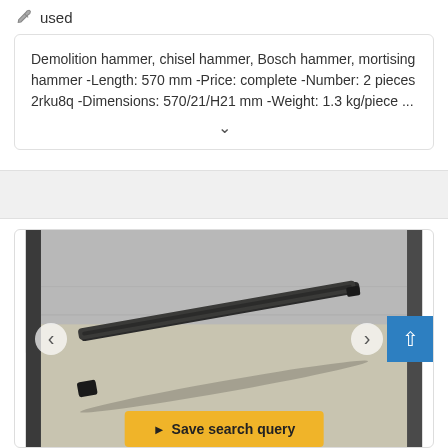used
Demolition hammer, chisel hammer, Bosch hammer, mortising hammer -Length: 570 mm -Price: complete -Number: 2 pieces 2rku8q -Dimensions: 570/21/H21 mm -Weight: 1.3 kg/piece ...
[Figure (photo): A photo of a demolition hammer chisel lying on a light-colored table surface against a concrete wall background, with navigation arrows and a save search query button overlay.]